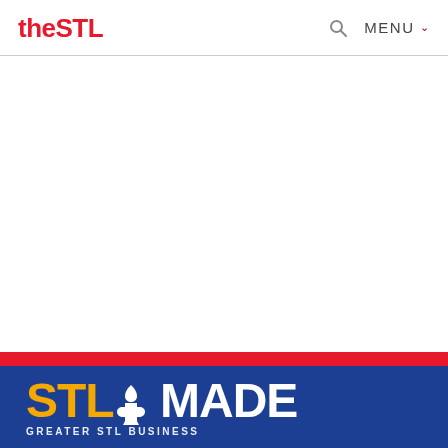theSTL  🔍  MENU ∨
[Figure (logo): theSTL website header with red logo text 'theSTL', search icon, and MENU navigation]
[Figure (logo): STLMADE banner logo on blue background with red stripe above. 'STL' in gold/yellow, fleur-de-lis icon, 'MADE' in white. Subtitle text partially visible below.]